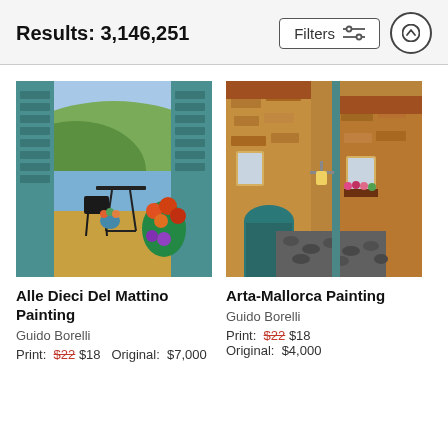Results: 3,146,251
[Figure (photo): Painting: Alle Dieci Del Mattino - terrace scene with table, chairs, open shutters, colorful flowers, and a lake/mountain view in the background by Guido Borelli]
Alle Dieci Del Mattino Painting
Guido Borelli
Print: $22 $18   Original: $7,000
[Figure (photo): Painting: Arta-Mallorca - narrow cobblestone street with stone buildings, blue doorway arch, terracotta rooftops, and flower boxes by Guido Borelli]
Arta-Mallorca Painting
Guido Borelli
Print: $22 $18 Original: $4,000